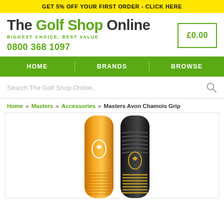GET 5% OFF YOUR FIRST ORDER - CLICK HERE
[Figure (logo): The Golf Shop Online logo with tagline 'BIGGEST CHOICE, BEST VALUE' and phone number 0800 368 1097]
£0.00
HOME | BRANDS | BROWSE
Search The Golf Shop Online...
Home » Masters » Accessories » Masters Avon Chamois Grip
[Figure (photo): Two Masters Avon Chamois golf grips side by side — one orange/yellow and one black — showing ribbed texture and Masters logo]